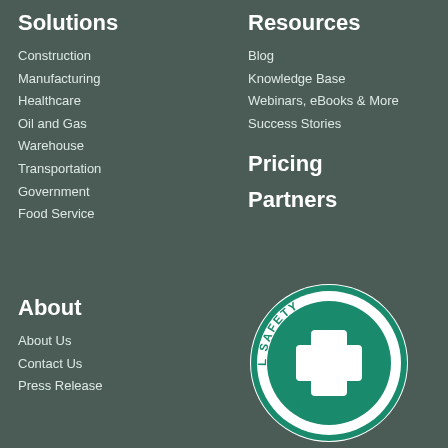Solutions
Construction
Manufacturing
Healthcare
Oil and Gas
Warehouse
Transportation
Government
Food Service
Resources
Blog
Knowledge Base
Webinars, eBooks & More
Success Stories
Pricing
Partners
About
About Us
Contact Us
Press Release
[Figure (logo): National Safety Council circular logo with green background, white cross in center, and text around the ring]
[Figure (logo): BBB Accredited Business badge with blue background]
[Figure (logo): US-EU Safe Harbor badge by U.S. Department of Commerce]